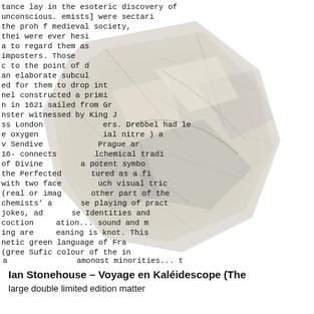[Figure (illustration): A page of monospaced text overlaid with a distorted, crumpled or folded paper effect creating a 3D sculptural appearance. The text discusses alchemy, Cornelis Drebbel, Sendivogius, Prague, green language of France, Sufic colour, Jabir ibn Hayyan (c. AD721-776), and related historical/esoteric topics. The text is partially obscured by the sculptural folds.]
Ian Stonehouse – Voyage en Kaléidescope  (The
large double limited edition matter